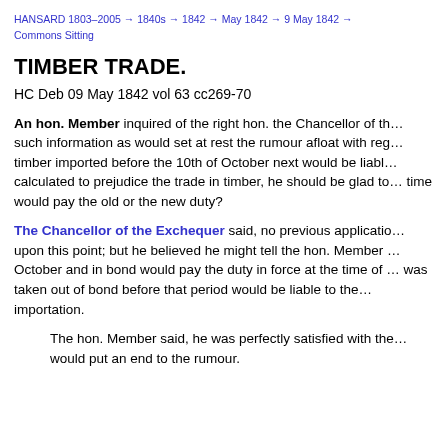HANSARD 1803–2005 → 1840s → 1842 → May 1842 → 9 May 1842 → Commons Sitting
TIMBER TRADE.
HC Deb 09 May 1842 vol 63 cc269-70
An hon. Member inquired of the right hon. the Chancellor of the Exchequer whether he could give such information as would set at rest the rumour afloat with regard to the new timber duties—whether timber imported before the 10th of October next would be liable to the new duty? As this report was calculated to prejudice the trade in timber, he should be glad to know whether timber in bond at that time would pay the old or the new duty?
The Chancellor of the Exchequer said, no previous application had been made to him upon this point; but he believed he might tell the hon. Member that timber imported before the 10th of October and in bond would pay the duty in force at the time of importation; and that any timber which was taken out of bond before that period would be liable to the duty in force at the time of importation.
The hon. Member said, he was perfectly satisfied with the answer, which would put an end to the rumour.